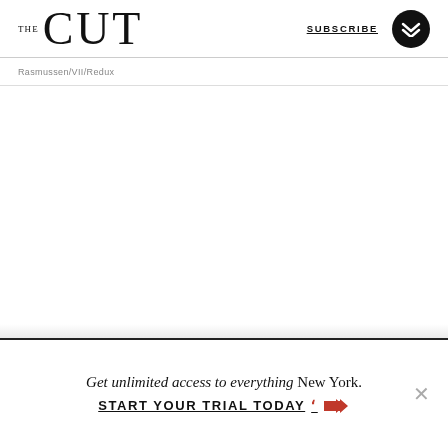THE CUT | SUBSCRIBE
Rasmussen/VII/Redux
Get unlimited access to everything New York. START YOUR TRIAL TODAY »
Get unlimited access to everything New York. START YOUR TRIAL TODAY »